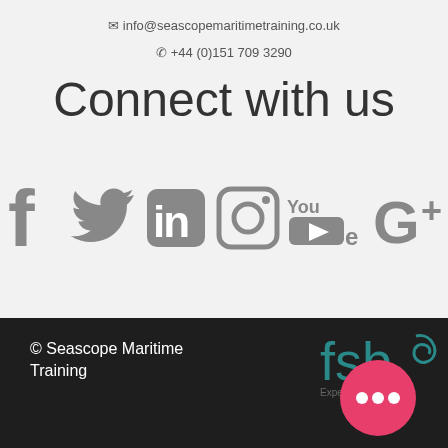✉ info@seascopemaritimetraining.co.uk
✆ +44 (0)151 709 3290
Connect with us
[Figure (infographic): Social media icons row: Facebook, Twitter, LinkedIn, Instagram, YouTube, Google+]
© Seascope Maritime Training
[Figure (logo): FSB logo in teal/dark color]